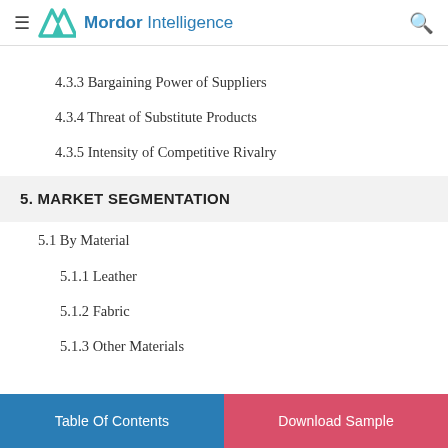Mordor Intelligence
4.3.3 Bargaining Power of Suppliers
4.3.4 Threat of Substitute Products
4.3.5 Intensity of Competitive Rivalry
5. MARKET SEGMENTATION
5.1 By Material
5.1.1 Leather
5.1.2 Fabric
5.1.3 Other Materials
Table Of Contents   Download Sample